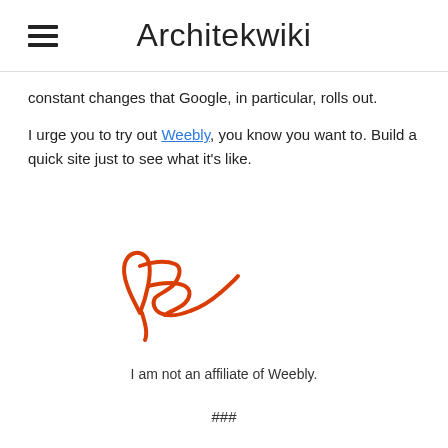Architekwiki
constant changes that Google, in particular, rolls out.
I urge you to try out Weebly, you know you want to. Build a quick site just to see what it's like.
[Figure (illustration): Handwritten signature in red/orange ink reading 'Rick']
I am not an affiliate of Weebly.
###